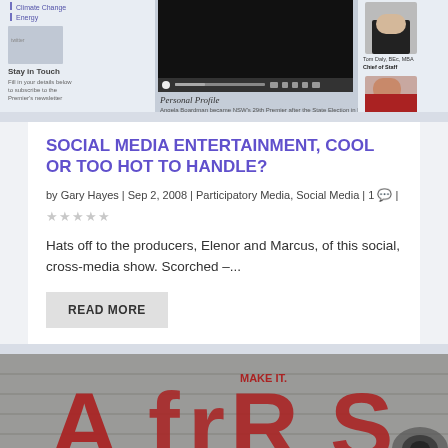[Figure (screenshot): Screenshot of a website showing navigation items (Climate Change, Energy), a video player with Personal Profile section mentioning Angela Boardman NSW's 29th Premier, and a staff profile photo of Tom Daly, BEc, MBA, Chief of Staff with another person photo below.]
SOCIAL MEDIA ENTERTAINMENT, COOL OR TOO HOT TO HANDLE?
by Gary Hayes | Sep 2, 2008 | Participatory Media, Social Media | 1 💬 | ★☆☆☆☆
Hats off to the producers, Elenor and Marcus, of this social, cross-media show. Scorched –...
READ MORE
[Figure (photo): Bottom portion of a photo showing red graffiti-style text reading 'MAKE IT. AftRS' (Australian Film or similar) on a concrete/brick wall with partial view of a vehicle.]